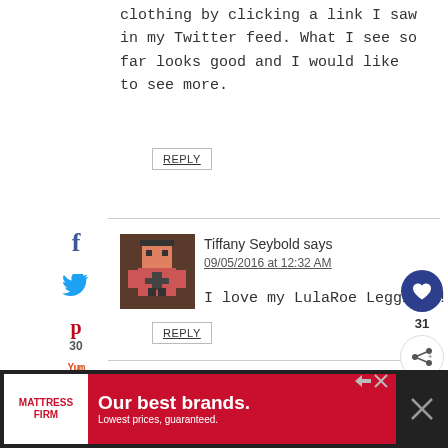clothing by clicking a link I saw in my Twitter feed. What I see so far looks good and I would like to see more.
REPLY
[Figure (illustration): Facebook icon (f) in dark blue, Twitter bird icon in light blue, Pinterest P icon in red with count 30, Yummly icon in orange]
30
SHARES
Tiffany Seybold says
09/05/2016 at 12:32 AM
I love my LulaRoe Leggings!
REPLY
[Figure (illustration): Heart button (blue circle with heart), count 31, share button (white circle with share icon)]
[Figure (illustration): Advertisement banner: Mattress Firm logo on white, red background with text 'Our best brands. Lowest prices, guaranteed.']